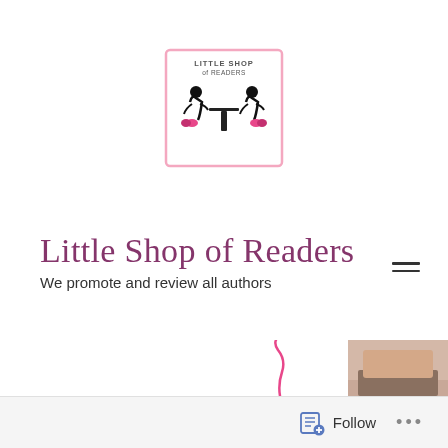[Figure (logo): Little Shop of Readers logo: two silhouetted women sitting at a table, pink decorative border, text 'LITTLE SHOP of READERS' above]
Little Shop of Readers
We promote and review all authors
[Figure (other): Pink cursive squiggle at bottom left]
[Figure (photo): Partial photo of a person's face/beard at bottom right]
Follow ...